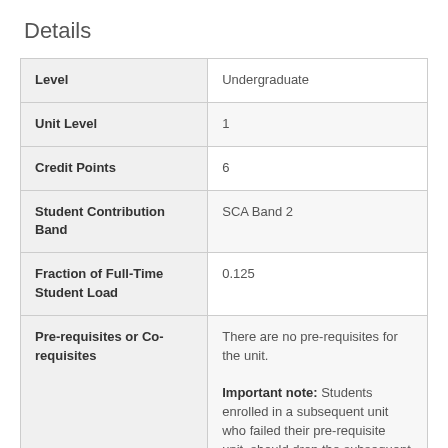Details
| Field | Value |
| --- | --- |
| Level | Undergraduate |
| Unit Level | 1 |
| Credit Points | 6 |
| Student Contribution Band | SCA Band 2 |
| Fraction of Full-Time Student Load | 0.125 |
| Pre-requisites or Co-requisites | There are no pre-requisites for the unit. Important note: Students enrolled in a subsequent unit who failed their pre-requisite unit, should drop the subsequent unit before the census date or |